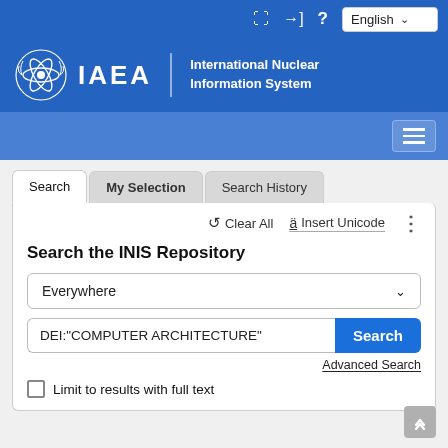[Figure (screenshot): IAEA International Nuclear Information System web interface screenshot showing top utility bar with icons and English language selector, IAEA logo header, navigation bar with hamburger menu, and a search panel with tabs (Search, My Selection, Search History), a search form with Everywhere dropdown, DEI:"COMPUTER ARCHITECTURE" query, Search button, Advanced Search link, and Limit to results with full text checkbox.]
IAEA International Nuclear Information System
Search the INIS Repository
Everywhere
DEI:"COMPUTER ARCHITECTURE"
Advanced Search
Limit to results with full text